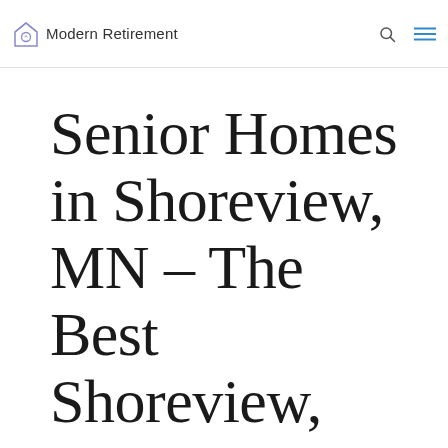Modern Retirement
Senior Homes in Shoreview, MN – The Best Shoreview, MN Retirement Homes